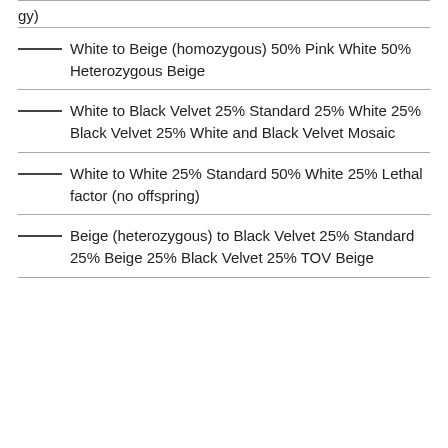——— White to Beige (homozygous) 50% Pink White 50% Heterozygous Beige
——— White to Black Velvet 25% Standard 25% White 25% Black Velvet 25% White and Black Velvet Mosaic
——— White to White 25% Standard 50% White 25% Lethal factor (no offspring)
——— Beige (heterozygous) to Black Velvet 25% Standard 25% Beige 25% Black Velvet 25% TOV Beige